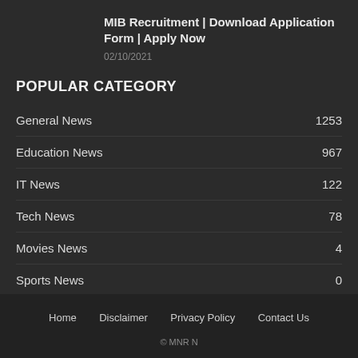MIB Recruitment | Download Application Form | Apply Now
02/10/2021
POPULAR CATEGORY
General News 1253
Education News 967
IT News 122
Tech News 78
Movies News 4
Sports News 0
Home   Disclaimer   Privacy Policy   Contact Us